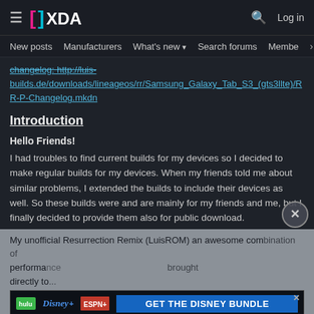XDA Developers - hamburger menu, search, Log in
New posts  Manufacturers  What's new  Search forums  Members >
changelog: http://luis-builds.de/downloads/lineageos/rr/Samsung_Galaxy_Tab_S3_(gts3llte)/RR-P-Changelog.mkdn
Introduction
Hello Friends!
I had troubles to find current builds for my devices so I decided to make regular builds for my devices. When my friends told me about similar problems, I extended the builds to include their devices as well. So these builds were and are mainly for my friends and me, but I finally decided to provide them also for public download.
My unofficial Resurrection Remix (LuisROM) an awesome combination of performance... brought directly to...
[Figure (other): Hulu Disney+ ESPN+ advertisement banner - GET THE DISNEY BUNDLE. Incl. Hulu (ad-supported) or Hulu (No Ads). Access content from each service separately. ©2021 Disney and its related entities]
My ROMs